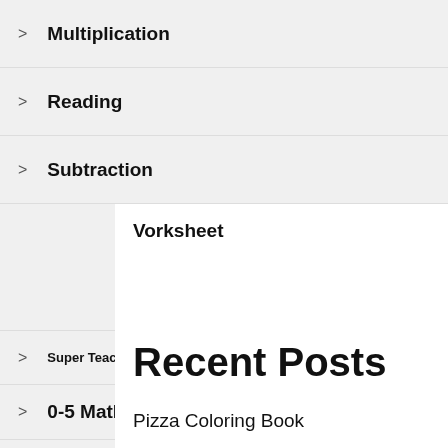> Multiplication
> Reading
> Subtraction
> Worksheet
Recent Posts
> Pizza Coloring Book
> Super Teacher Worksheets Answer Key Science
> 0-5 Math Worksheets
> Charmander Coloring Picture